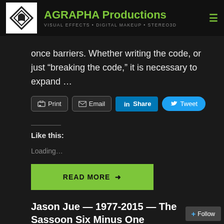AGRAPHA Productions — VISUAL EFFECTS • DIGITAL MAKEUP • STEREO3D
once barriers. Whether writing the code, or just “breaking the code,” it is necessary to expand …
[Figure (screenshot): Share buttons row: Print, Email, LinkedIn Share, Twitter Tweet]
Like this:
Loading...
READ MORE →
Jason Jue — 1977-2015 — The Sassoon Six Minus One